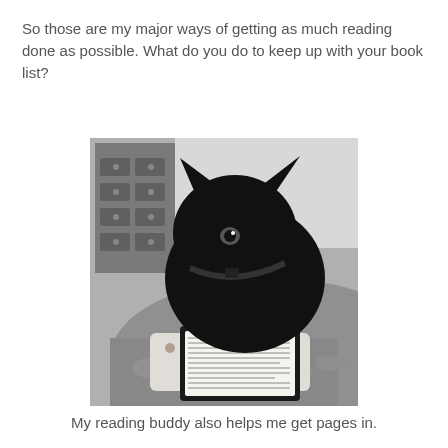So those are my major ways of getting as much reading done as possible. What do you do to keep up with your book list?
[Figure (photo): Black and white photo of a black cat lying on a fluffy blanket with its chin resting near an open e-reader device on a patterned cushion. A dresser is visible in the background.]
My reading buddy also helps me get pages in.